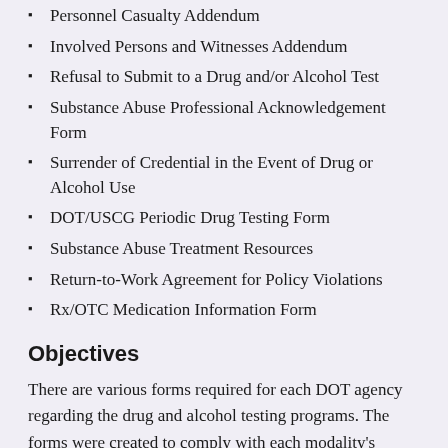Personnel Casualty Addendum
Involved Persons and Witnesses Addendum
Refusal to Submit to a Drug and/or Alcohol Test
Substance Abuse Professional Acknowledgement Form
Surrender of Credential in the Event of Drug or Alcohol Use
DOT/USCG Periodic Drug Testing Form
Substance Abuse Treatment Resources
Return-to-Work Agreement for Policy Violations
Rx/OTC Medication Information Form
Objectives
There are various forms required for each DOT agency regarding the drug and alcohol testing programs. The forms were created to comply with each modality's requirements and to assist the DER in properly managing the testing program. The DOT expanded forms are agency specific and include appropriate